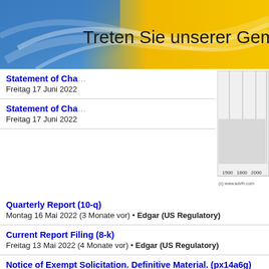[Figure (illustration): Yellow and blue gradient banner header with swirling light effects and text 'Treten Sie unserer Gemeinschaft bei']
Treten Sie unserer Gemeinschaft bei
[Figure (other): Stock chart with x-axis labels 1500, 1800, 2000 and copyright (c) www.advfn.com]
Statement of Changes in Beneficial Ownership
Freitag 17 Juni 2022
Statement of Changes in Beneficial Ownership
Freitag 17 Juni 2022
Quarterly Report (10-q)
Montag 16 Mai 2022 (3 Monate vor) • Edgar (US Regulatory)
Current Report Filing (8-k)
Freitag 13 Mai 2022 (4 Monate vor) • Edgar (US Regulatory)
Notice of Exempt Solicitation. Definitive Material. (px14a6g)
Montag 25 April 2022 (4 Monate vor) • Edgar (US Regulatory)
Notice of Exempt Solicitation. Definitive Material. (px14a6g)
Freitag 15 April 2022 (4 Monate vor) • Edgar (US Regulatory)
Weitere Arlington Asset Investment Corp. N...